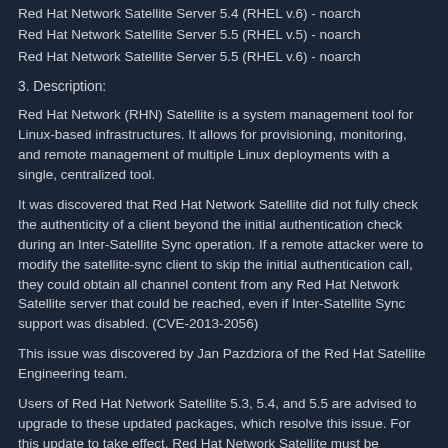Red Hat Network Satellite Server 5.4 (RHEL v.6) - noarch
Red Hat Network Satellite Server 5.5 (RHEL v.5) - noarch
Red Hat Network Satellite Server 5.5 (RHEL v.6) - noarch
3. Description:
Red Hat Network (RHN) Satellite is a system management tool for Linux-based infrastructures. It allows for provisioning, monitoring, and remote management of multiple Linux deployments with a single, centralized tool.
It was discovered that Red Hat Network Satellite did not fully check the authenticity of a client beyond the initial authentication check during an Inter-Satellite Sync operation. If a remote attacker were to modify the satellite-sync client to skip the initial authentication call, they could obtain all channel content from any Red Hat Network Satellite server that could be reached, even if Inter-Satellite Sync support was disabled. (CVE-2013-2056)
This issue was discovered by Jan Pazdziora of the Red Hat Satellite Engineering team.
Users of Red Hat Network Satellite 5.3, 5.4, and 5.5 are advised to upgrade to these updated packages, which resolve this issue. For this update to take effect, Red Hat Network Satellite must be restarted. Refer to the Solution section for details.
4. Solution:
Before applying this update, make sure all previously-released errata relevant to your system have been applied.
This update is available via the Red Hat Network. Details on how to